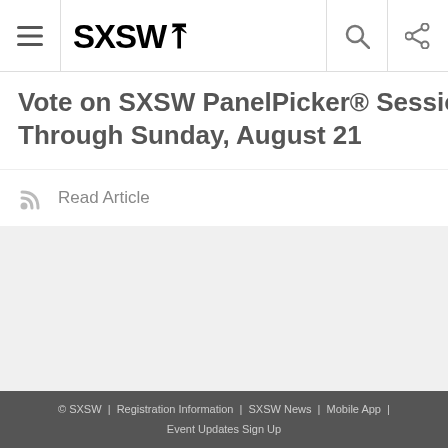SXSW
Vote on SXSW PanelPicker® Sessions Through Sunday, August 21
Read Article
Perform at the SXSW Music Fe Early Applicatio Deadline Augus
Read Article
Return to Home
© SXSW | Registration Information | SXSW News | Mobile App | Event Updates Sign Up